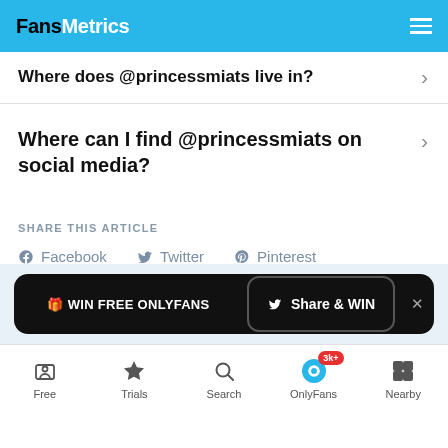FansMetrics
Where does @princessmiats live in?
Where can I find @princessmiats on social media?
SHARE THIS ARTICLE
Facebook  Twitter  Pinterest
🎁 WIN FREE ONLYFANS  🐦 Share & WIN  ×
Free  Trials  Search  OnlyFans 3k+  Nearby